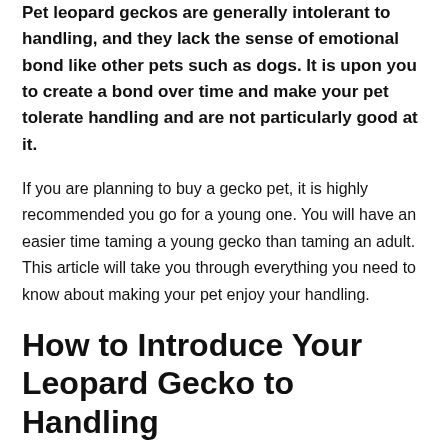Pet leopard geckos are generally intolerant to handling, and they lack the sense of emotional bond like other pets such as dogs. It is upon you to create a bond over time and make your pet tolerate handling and are not particularly good at it.
If you are planning to buy a gecko pet, it is highly recommended you go for a young one. You will have an easier time taming a young gecko than taming an adult. This article will take you through everything you need to know about making your pet enjoy your handling.
How to Introduce Your Leopard Gecko to Handling
You may have bought your pet, received it as a gift, or